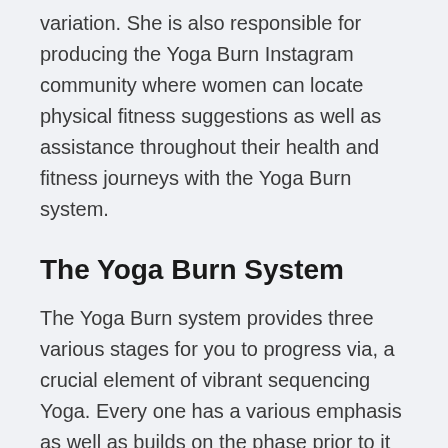variation. She is also responsible for producing the Yoga Burn Instagram community where women can locate physical fitness suggestions as well as assistance throughout their health and fitness journeys with the Yoga Burn system.
The Yoga Burn System
The Yoga Burn system provides three various stages for you to progress via, a crucial element of vibrant sequencing Yoga. Every one has a various emphasis as well as builds on the phase prior to it to fully build up your stamina, keep burning calories, and also encourage expertise of the program material. You can progress from one stage to the next as quickly as you really feel